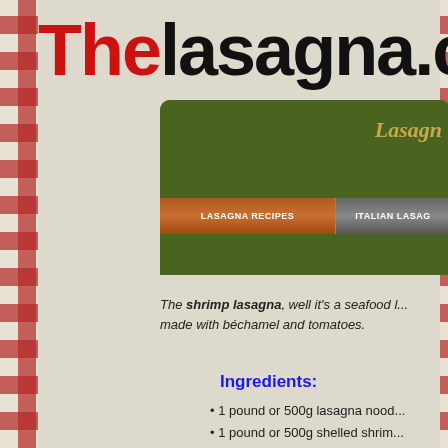Thelasagna.co
[Figure (screenshot): Navigation bar with green background showing Lasagn... title and buttons: LASAGNA RECIPES | ITALIAN LASAG...]
The shrimp lasagna, well it's a seafood l... made with béchamel and tomatoes.
Ingredients:
1 pound or 500g lasagna nood...
1 pound or 500g shelled shrim...
3 chopped garlic cloves
1 chopped ...